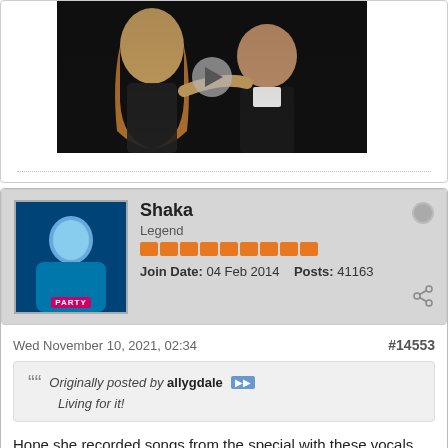[Figure (photo): Video thumbnail showing two people (a woman and a man) with a play button overlay, on a dark background]
Shaka
Legend
Join Date: 04 Feb 2014   Posts: 41163
Wed November 10, 2021, 02:34
#14553
Originally posted by allygdale
Living for it!
Hope she recorded songs from the special with these vocals.
The difference with FILAC (belting wise) is huge.